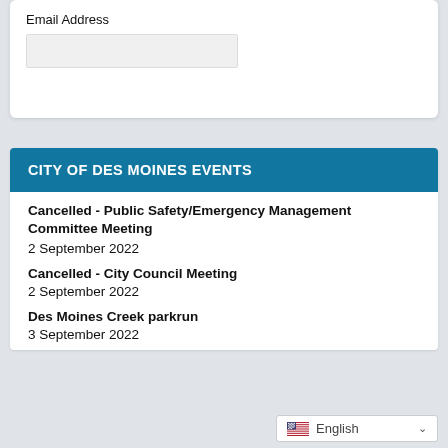Email Address
CITY OF DES MOINES EVENTS
Cancelled - Public Safety/Emergency Management Committee Meeting
2 September 2022
Cancelled - City Council Meeting
2 September 2022
Des Moines Creek parkrun
3 September 2022